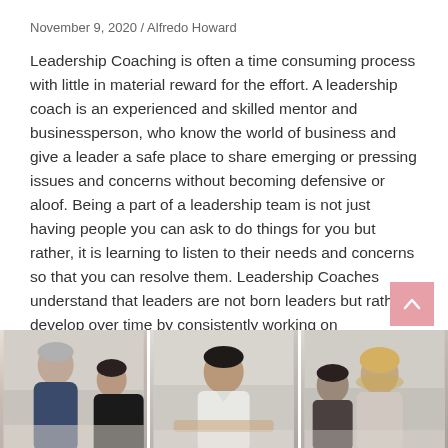November 9, 2020 / Alfredo Howard
Leadership Coaching is often a time consuming process with little in material reward for the effort. A leadership coach is an experienced and skilled mentor and businessperson, who know the world of business and give a leader a safe place to share emerging or pressing issues and concerns without becoming defensive or aloof. Being a part of a leadership team is not just having people you can ask to do things for you but rather, it is learning to listen to their needs and concerns so that you can resolve them. Leadership Coaches understand that leaders are not born leaders but rather develop over time by consistently working on themselves. Therefore, a good leader must be willing to invest time, effort and commitment in himself in order to become an effective leader.
[Figure (photo): Three-panel photo strip showing groups of business professionals in discussion/meeting settings. Left panel: older man with grey hair and younger person. Middle panel: young man in white shirt leaning over. Right panel: woman with blonde hair and another person.]